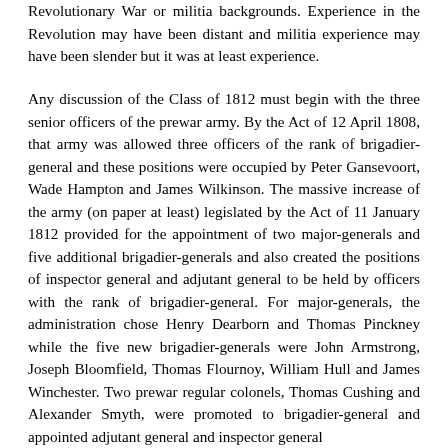Revolutionary War or militia backgrounds. Experience in the Revolution may have been distant and militia experience may have been slender but it was at least experience.
Any discussion of the Class of 1812 must begin with the three senior officers of the prewar army. By the Act of 12 April 1808, that army was allowed three officers of the rank of brigadier-general and these positions were occupied by Peter Gansevoort, Wade Hampton and James Wilkinson. The massive increase of the army (on paper at least) legislated by the Act of 11 January 1812 provided for the appointment of two major-generals and five additional brigadier-generals and also created the positions of inspector general and adjutant general to be held by officers with the rank of brigadier-general. For major-generals, the administration chose Henry Dearborn and Thomas Pinckney while the five new brigadier-generals were John Armstrong, Joseph Bloomfield, Thomas Flournoy, William Hull and James Winchester. Two prewar regular colonels, Thomas Cushing and Alexander Smyth, were promoted to brigadier-general and appointed adjutant general and inspector general